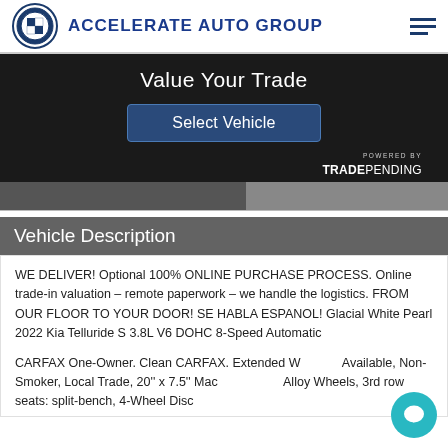ACCELERATE AUTO GROUP
[Figure (screenshot): Value Your Trade widget with 'Select Vehicle' button and 'POWERED BY TRADEPENDING' branding on dark background]
Vehicle Description
WE DELIVER! Optional 100% ONLINE PURCHASE PROCESS. Online trade-in valuation – remote paperwork – we handle the logistics. FROM OUR FLOOR TO YOUR DOOR! SE HABLA ESPANOL! Glacial White Pearl 2022 Kia Telluride S 3.8L V6 DOHC 8-Speed Automatic
CARFAX One-Owner. Clean CARFAX. Extended W Available, Non-Smoker, Local Trade, 20'' x 7.5'' Mac Alloy Wheels, 3rd row seats: split-bench, 4-Wheel Disc